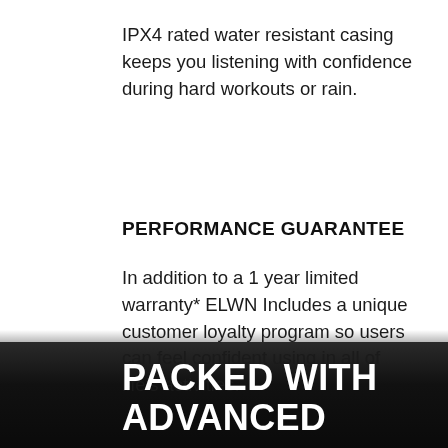IPX4 rated water resistant casing keeps you listening with confidence during hard workouts or rain.
PERFORMANCE GUARANTEE
In addition to a 1 year limited warranty* ELWN Includes a unique customer loyalty program so users can feel confident using in all of life's activities.
PACKED WITH ADVANCED